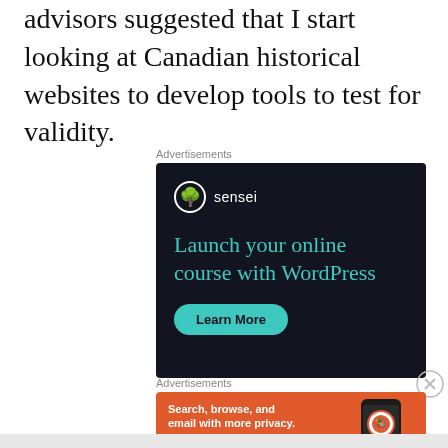advisors suggested that I start looking at Canadian historical websites to develop tools to test for validity.
Advertisements
[Figure (screenshot): Sensei advertisement: dark background with Sensei logo (tree icon), headline 'Launch your online course with WordPress', and a teal 'Learn More' button]
Advertisements
[Figure (screenshot): DuckDuckGo advertisement: orange background with text 'Search, browse, and email with more privacy.' and 'All in One Free App' button, with phone showing DuckDuckGo logo on the right]